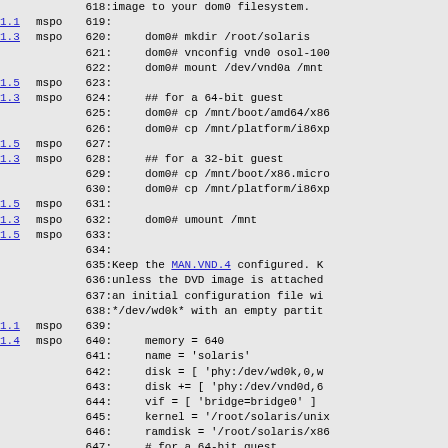618: image to your dom0 filesystem.
1.1  mspo  619:
1.3  mspo  620:      dom0# mkdir /root/solaris
621:      dom0# vnconfig vnd0 osol-100
622:      dom0# mount /dev/vnd0a /mnt
1.5  mspo  623:
1.3  mspo  624:      ## for a 64-bit guest
625:      dom0# cp /mnt/boot/amd64/x86
626:      dom0# cp /mnt/platform/i86xp
1.5  mspo  627:
1.3  mspo  628:      ## for a 32-bit guest
629:      dom0# cp /mnt/boot/x86.micro
630:      dom0# cp /mnt/platform/i86xp
1.5  mspo  631:
1.3  mspo  632:      dom0# umount /mnt
1.5  mspo  633:
634:
635: Keep the MAN.VND.4 configured. K
636: unless the DVD image is attached
637: an initial configuration file wi
638: */dev/wd0k* with an empty partit
1.1  mspo  639:
1.4  mspo  640:      memory = 640
641:      name = 'solaris'
642:      disk = [ 'phy:/dev/wd0k,0,w
643:      disk += [ 'phy:/dev/vnd0d,6
644:      vif = [ 'bridge=bridge0' ]
645:      kernel = '/root/solaris/unix
646:      ramdisk = '/root/solaris/x86
647:      # for a 64-bit guest